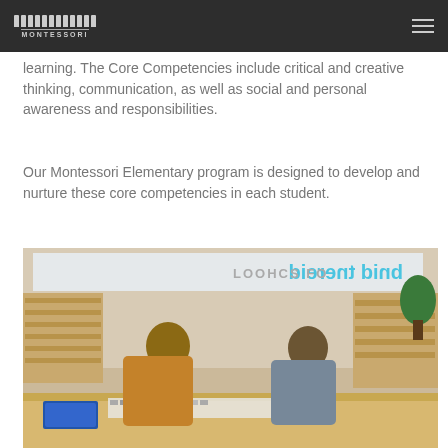MONTESSORI [logo and navigation]
learning. The Core Competencies include critical and creative thinking, communication, as well as social and personal awareness and responsibilities.
Our Montessori Elementary program is designed to develop and nurture these core competencies in each student.
[Figure (photo): Two children working together at a table in a Montessori classroom, with materials spread out in front of them. A reversed sign reading 'different kind of school' is visible in the background above wooden shelving units.]